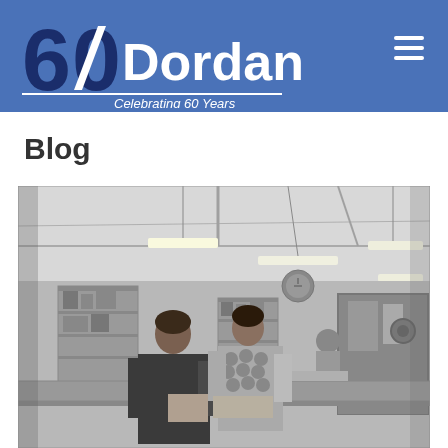60 Dordan — Celebrating 60 Years
Blog
[Figure (photo): Black and white vintage photograph of a factory/workshop interior. Several workers are seen at a large work table in the foreground, with shelving and industrial equipment visible in the background. Overhead fluorescent lights illuminate the space.]